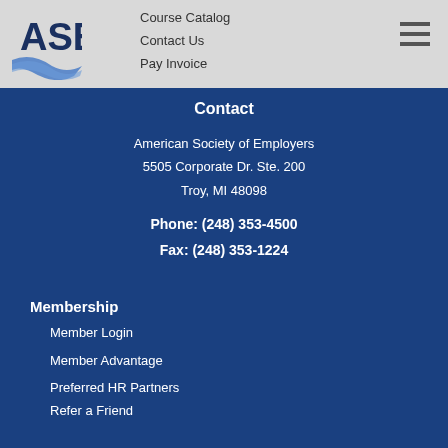[Figure (logo): ASE (American Society of Employers) logo — stylized letters ASE with a blue swoosh/wing graphic beneath]
Course Catalog
Contact Us
Pay Invoice
Contact
American Society of Employers
5505 Corporate Dr. Ste. 200
Troy, MI 48098
Phone: (248) 353-4500
Fax: (248) 353-1224
Membership
Member Login
Member Advantage
Preferred HR Partners
Refer a Friend